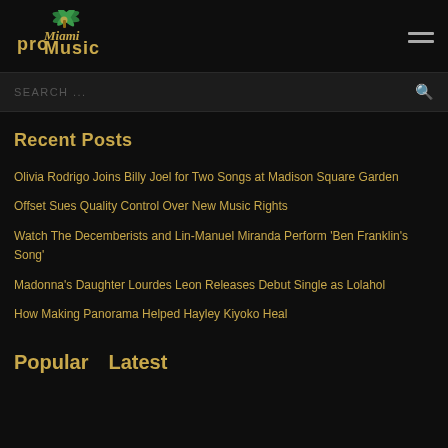[Figure (logo): Miami Pro Music logo with stylized text and palm tree graphic on dark background]
SEARCH ...
Recent Posts
Olivia Rodrigo Joins Billy Joel for Two Songs at Madison Square Garden
Offset Sues Quality Control Over New Music Rights
Watch The Decemberists and Lin-Manuel Miranda Perform 'Ben Franklin's Song'
Madonna's Daughter Lourdes Leon Releases Debut Single as Lolahol
How Making Panorama Helped Hayley Kiyoko Heal
Popular   Latest